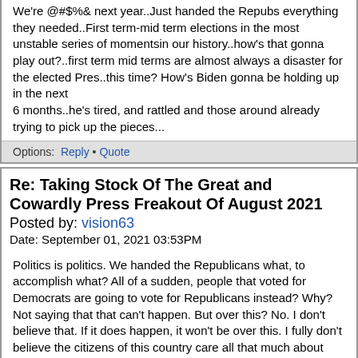We're @#$%& next year..Just handed the Repubs everything they needed..First term-mid term elections in the most unstable series of momentsin our history..how's that gonna play out?..first term mid terms are almost always a disaster for the elected Pres..this time? How's Biden gonna be holding up in the next 6 months..he's tired, and rattled and those around already trying to pick up the pieces...
Options:  Reply • Quote
Re: Taking Stock Of The Great and Cowardly Press Freakout Of August 2021
Posted by: vision63
Date: September 01, 2021 03:53PM
Politics is politics. We handed the Republicans what, to accomplish what? All of a sudden, people that voted for Democrats are going to vote for Republicans instead? Why? Not saying that that can't happen. But over this? No. I don't believe that. If it does happen, it won't be over this. I fully don't believe the citizens of this country care all that much about what happens to Afghanis.
Bumbling through Vietnam, invading Cambodia etc., didn't stop Nixon from being re-elected. Nor, did not finding Bin Laden and bumbling through Afghanistan and Iraq keep W. Bush from being re-elected.
Options:  Reply • Quote
Re: Taking Stock Of The Great and Cowardly Press Freakout Of August 2021